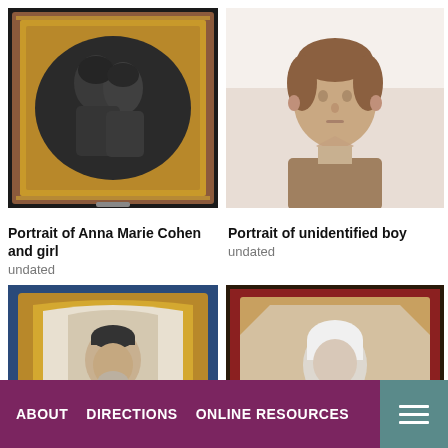[Figure (photo): Daguerreotype portrait of Anna Marie Cohen and girl in ornate gold oval frame with decorative case]
Portrait of Anna Marie Cohen and girl
undated
[Figure (photo): Sepia-toned portrait photograph of an unidentified young boy wearing a bow tie and jacket]
Portrait of unidentified boy
undated
[Figure (photo): Daguerreotype portrait of an elderly man wearing a dark cap in ornate gold frame with blue velvet case (partially visible)]
[Figure (photo): Portrait of elderly woman in white cap in octagonal frame with dark case (partially visible)]
ABOUT   DIRECTIONS   ONLINE RESOURCES